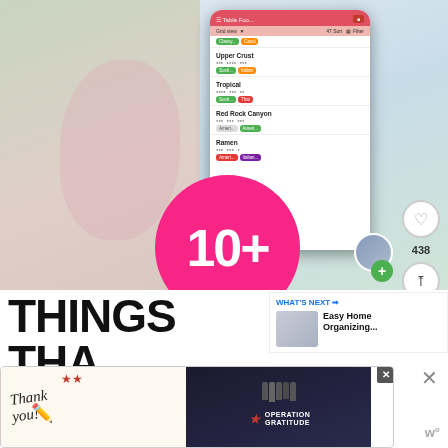[Figure (screenshot): Person holding a smartphone displaying a table/list app (Notion or Airtable) with restaurant or recipe entries: Upper Crust, Tropical, Red Rock Canyon, Ramen. Pink circle overlay with '10+' text. Right side shows heart icon and share icon with count 438.]
THINGS THA... SHOULD BE...
[Figure (infographic): WHAT'S NEXT panel showing 'Easy Home Organizing...' with a thumbnail image]
[Figure (photo): Advertisement banner: 'Thank you!' with Operation Gratitude logo showing firefighters/military personnel]